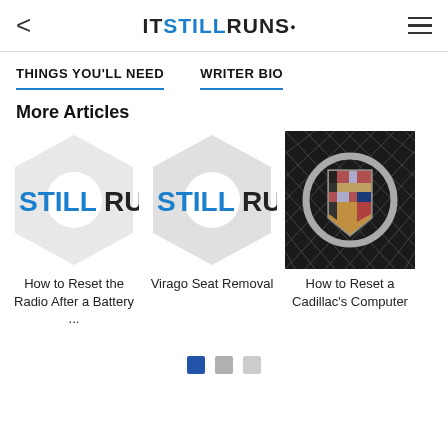ITSTILLRUNS.
THINGS YOU'LL NEED
WRITER BIO
More Articles
[Figure (logo): ItsStillRuns placeholder logo thumbnail for article: How to Reset the Radio After a Battery ...]
How to Reset the Radio After a Battery ...
[Figure (logo): ItsStillRuns placeholder logo thumbnail for article: Virago Seat Removal]
Virago Seat Removal
[Figure (photo): Photo of a Cadillac emblem/crest on a chrome grille for article: How to Reset a Cadillac's Computer]
How to Reset a Cadillac's Computer